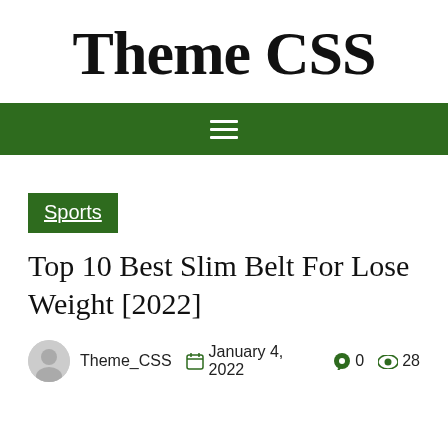Theme CSS
☰
Sports
Top 10 Best Slim Belt For Lose Weight [2022]
Theme_CSS  January 4, 2022  0  28